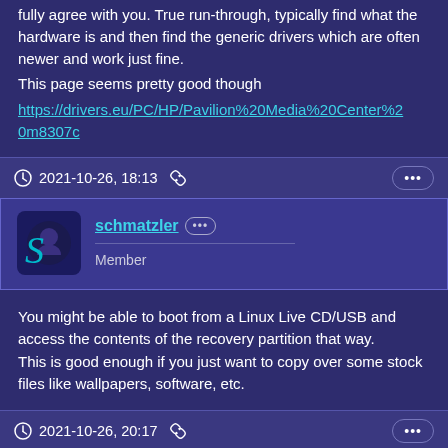fully agree with you. True run-through, typically find what the hardware is and then find the generic drivers which are often newer and work just fine. This page seems pretty good though https://drivers.eu/PC/HP/Pavilion%20Media%20Center%20m8307c
2021-10-26, 18:13
schmatzler Member
You might be able to boot from a Linux Live CD/USB and access the contents of the recovery partition that way. This is good enough if you just want to copy over some stock files like wallpapers, software, etc.
2021-10-26, 20:17